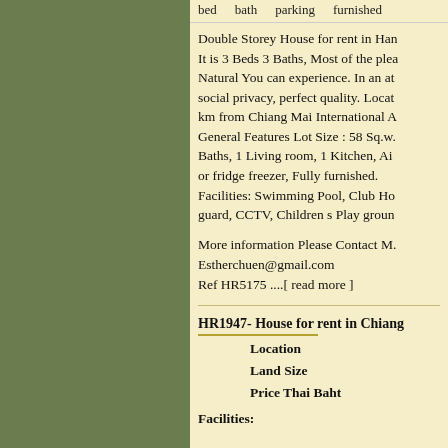bed   bath   parking   furnished
Double Storey House for rent in Han It is 3 Beds 3 Baths, Most of the plea Natural You can experience. In an at social privacy, perfect quality. Locat km from Chiang Mai International A General Features Lot Size : 58 Sq.w. Baths, 1 Living room, 1 Kitchen, Ai or fridge freezer, Fully furnished. Facilities: Swimming Pool, Club Ho guard, CCTV, Children s Play groun
More information Please Contact M. Estherchuen@gmail.com Ref HR5175 ....[ read more ]
HR1947- House for rent in Chiang
Location
Land Size
Price Thai Baht
Facilities: